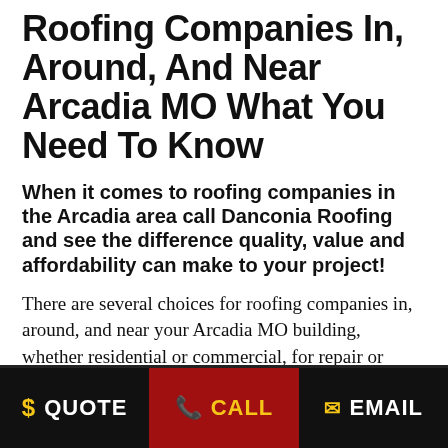Roofing Companies In, Around, And Near Arcadia MO What You Need To Know
When it comes to roofing companies in the Arcadia area call Danconia Roofing and see the difference quality, value and affordability can make to your project!
There are several choices for roofing companies in, around, and near your Arcadia MO building, whether residential or commercial, for repair or replacement, and covering shingle, metal, cedar wood shake, slate, composite, as well as commercial flat membrane roofing including TPO, Bitmen, PVC etc., but only a rare few that combine quality, guaranteed workmanship,
$ QUOTE   ✆ CALL   ✉ EMAIL